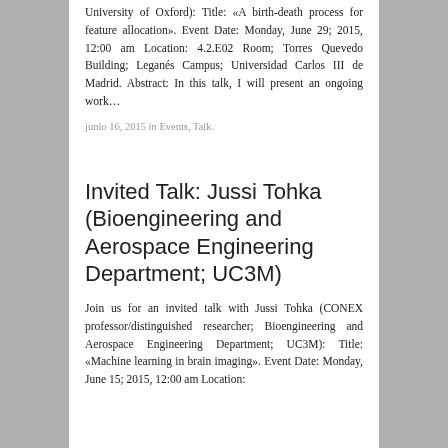University of Oxford): Title: «A birth-death process for feature allocation». Event Date: Monday, June 29; 2015, 12:00 am Location: 4.2.E02 Room; Torres Quevedo Building; Leganés Campus; Universidad Carlos III de Madrid. Abstract: In this talk, I will present an ongoing work…
junio 16, 2015 in Events, Talk.
Invited Talk: Jussi Tohka (Bioengineering and Aerospace Engineering Department; UC3M)
Join us for an invited talk with Jussi Tohka (CONEX professor/distinguished researcher; Bioengineering and Aerospace Engineering Department; UC3M): Title: «Machine learning in brain imaging». Event Date: Monday, June 15; 2015, 12:00 am Location: